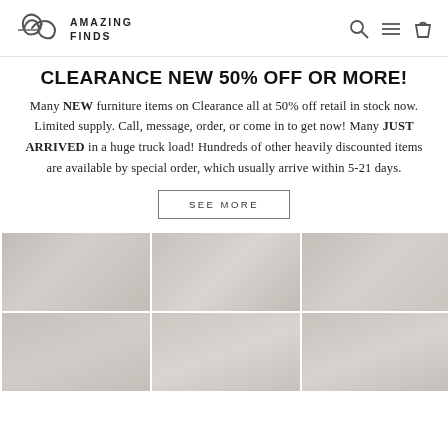Amazing Finds
CLEARANCE NEW 50% OFF OR MORE!
Many NEW furniture items on Clearance all at 50% off retail in stock now. Limited supply. Call, message, order, or come in to get now! Many JUST ARRIVED in a huge truck load! Hundreds of other heavily discounted items are available by special order, which usually arrive within 5-21 days.
SEE MORE
[Figure (photo): Grid of furniture product images in muted/blurred style showing various furniture pieces]